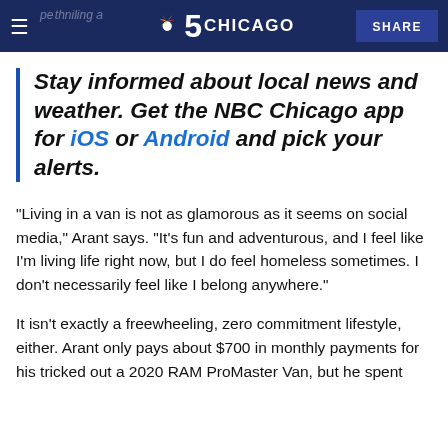NBC 5 Chicago — SHARE
Stay informed about local news and weather. Get the NBC Chicago app for iOS or Android and pick your alerts.
"Living in a van is not as glamorous as it seems on social media," Arant says. "It's fun and adventurous, and I feel like I'm living life right now, but I do feel homeless sometimes. I don't necessarily feel like I belong anywhere."
It isn't exactly a freewheeling, zero commitment lifestyle, either. Arant only pays about $700 in monthly payments for his tricked out a 2020 RAM ProMaster Van, but he spent